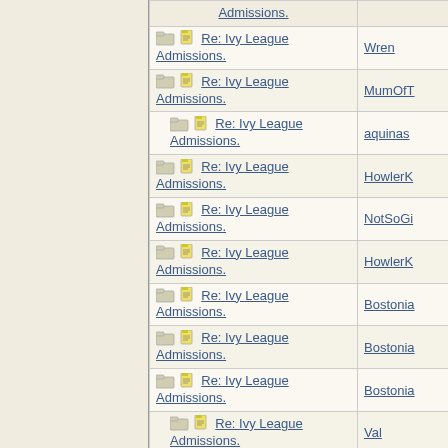| Thread | Author |
| --- | --- |
| Re: Ivy League Admissions. | Wren |
| Re: Ivy League Admissions. | MumOfT |
| Re: Ivy League Admissions. | aquinas |
| Re: Ivy League Admissions. | HowlerK |
| Re: Ivy League Admissions. | NotSoGi |
| Re: Ivy League Admissions. | HowlerK |
| Re: Ivy League Admissions. | Bostonia |
| Re: Ivy League Admissions. | Bostonia |
| Re: Ivy League Admissions. | Bostonia |
| Re: Ivy League Admissions. | Val |
| Re: Ivy League | JonLaw |